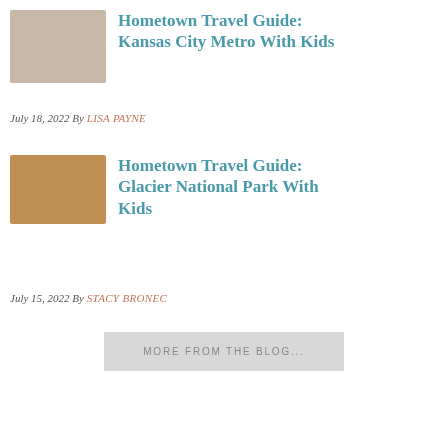Hometown Travel Guide: Kansas City Metro With Kids
July 18, 2022 By LISA PAYNE
Hometown Travel Guide: Glacier National Park With Kids
July 15, 2022 By STACY BRONEC
MORE FROM THE BLOG...